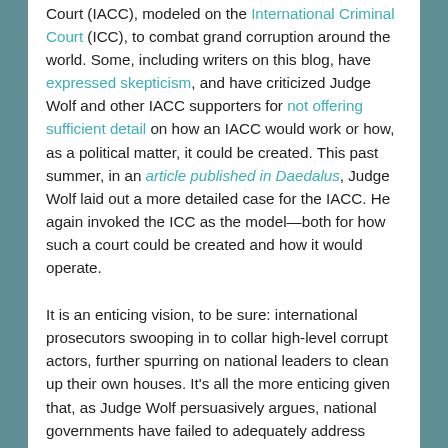Court (IACC), modeled on the International Criminal Court (ICC), to combat grand corruption around the world. Some, including writers on this blog, have expressed skepticism, and have criticized Judge Wolf and other IACC supporters for not offering sufficient detail on how an IACC would work or how, as a political matter, it could be created. This past summer, in an article published in Daedalus, Judge Wolf laid out a more detailed case for the IACC. He again invoked the ICC as the model—both for how such a court could be created and how it would operate.
It is an enticing vision, to be sure: international prosecutors swooping in to collar high-level corrupt actors, further spurring on national leaders to clean up their own houses. It's all the more enticing given that, as Judge Wolf persuasively argues, national governments have failed to adequately address grand corruption in their own jurisdictions, with significant adverse consequences for international security and prosperity. But the ICC experience suggests the limits rather than the promise of an IACC. Indeed, the ICC's history demonstrates why it is